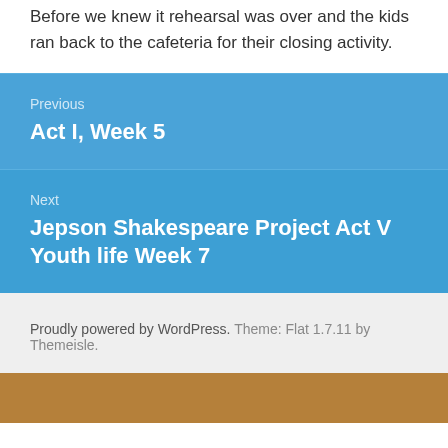Before we knew it rehearsal was over and the kids ran back to the cafeteria for their closing activity.
Previous
Act I, Week 5
Next
Jepson Shakespeare Project Act V Youth life Week 7
Proudly powered by WordPress. Theme: Flat 1.7.11 by Themeisle.
[Figure (photo): Partial view of a photo with warm brown/orange tones at the bottom of the page]